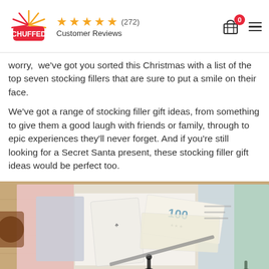CHUFFED ★★★★★ (272) Customer Reviews
worry,  we've got you sorted this Christmas with a list of the top seven stocking fillers that are sure to put a smile on their face.
We've got a range of stocking filler gift ideas, from something to give them a good laugh with friends or family, through to epic experiences they'll never forget. And if you're still looking for a Secret Santa present, these stocking filler gift ideas would be perfect too.
[Figure (photo): Overhead view of a board game (resembling Monopoly) on a wooden table, showing game cards, play money with '100' visible, game board sections, and game pieces. A glass of dark drink is visible on the left edge.]